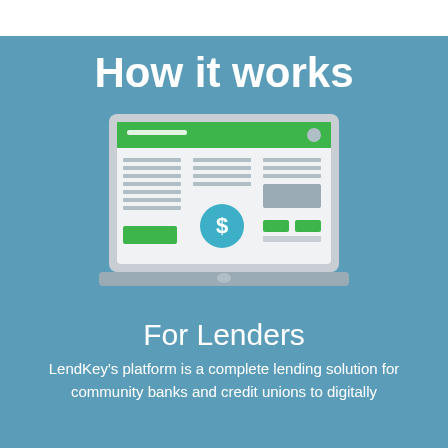How it works
[Figure (illustration): Flat-style laptop icon showing a stylized web page with a green navigation bar, three columns of gray text lines, a teal dollar-sign circle, green buttons, and a gray image placeholder, all on a light background with a gray laptop body and base.]
For Lenders
LendKey's platform is a complete lending solution for community banks and credit unions to digitally